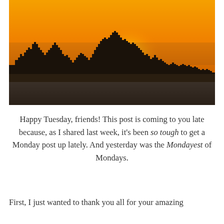[Figure (photo): A cityscape silhouette at sunset/sunrise with an orange sky. The New York City skyline is visible as dark silhouettes against a vivid orange-yellow sky, with a flat dark foreground (likely a road or runway). A thin white horizontal stripe separates two sections of the image.]
Happy Tuesday, friends! This post is coming to you late because, as I shared last week, it's been so tough to get a Monday post up lately. And yesterday was the Mondayest of Mondays.
First, I just wanted to thank you all for your amazing